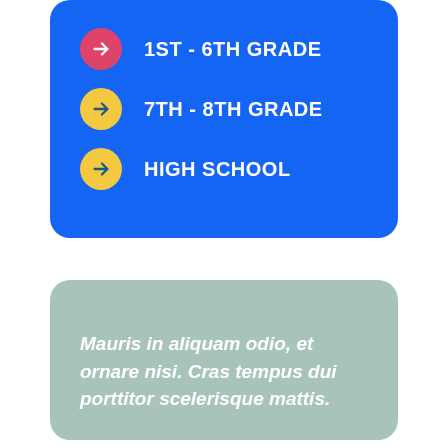1ST - 6TH GRADE
7TH - 8TH GRADE
HIGH SCHOOL
Mauris in aliquam odio, et ornare nisi. Cras tempus dui porttitor scelerisque mattis.